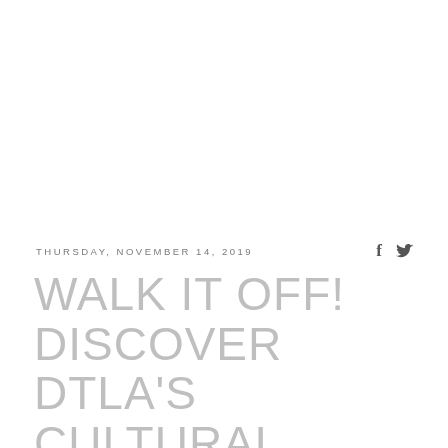THURSDAY, NOVEMBER 14, 2019
WALK IT OFF! DISCOVER DTLA'S CULTURAL WALKING TOURS